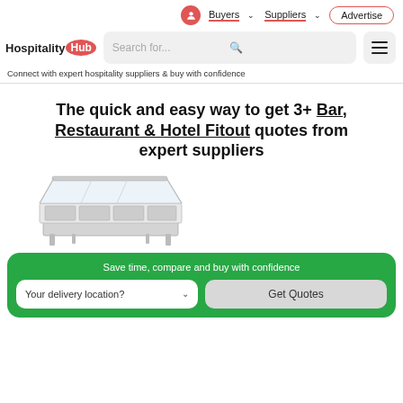Buyers  Suppliers  Advertise
[Figure (logo): Hospitality Hub logo with red circle Hub badge and search bar with hamburger menu]
Connect with expert hospitality suppliers & buy with confidence
The quick and easy way to get 3+ Bar, Restaurant & Hotel Fitout quotes from expert suppliers
[Figure (photo): Commercial heated food display unit / bain marie, silver/steel, transparent glass panels]
Save time, compare and buy with confidence
Your delivery location?   Get Quotes